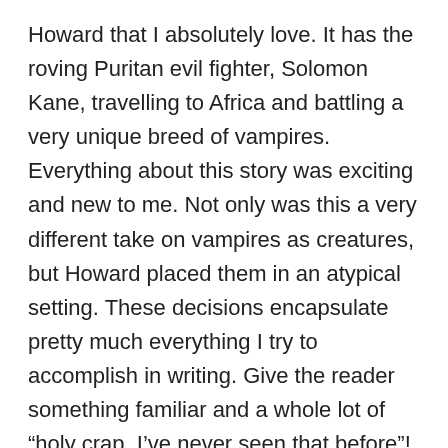Howard that I absolutely love. It has the roving Puritan evil fighter, Solomon Kane, travelling to Africa and battling a very unique breed of vampires. Everything about this story was exciting and new to me. Not only was this a very different take on vampires as creatures, but Howard placed them in an atypical setting. These decisions encapsulate pretty much everything I try to accomplish in writing. Give the reader something familiar and a whole lot of “holy crap, I’ve never seen that before”!
What do you think is the attraction for Vampire fiction? Why is it such a popular topic?
Vampires are a very diverse monster. They can be sexy, dangerous or a combination of the two and no matter what the genre (horror, romance, sci-fi, weird westerns) if one of the characters is a vampire, it becomes a vampire story!